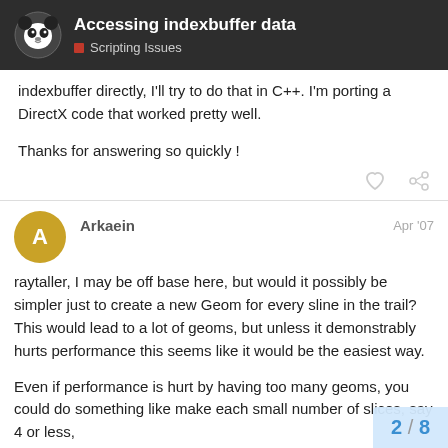Accessing indexbuffer data — Scripting Issues
indexbuffer directly, I'll try to do that in C++. I'm porting a DirectX code that worked pretty well.
Thanks for answering so quickly !
Arkaein  Apr '07
raytaller, I may be off base here, but would it possibly be simpler just to create a new Geom for every sline in the trail? This would lead to a lot of geoms, but unless it demonstrably hurts performance this seems like it would be the easiest way.
Even if performance is hurt by having too many geoms, you could do something like make each small number of slices, say 4 or less,
2 / 8